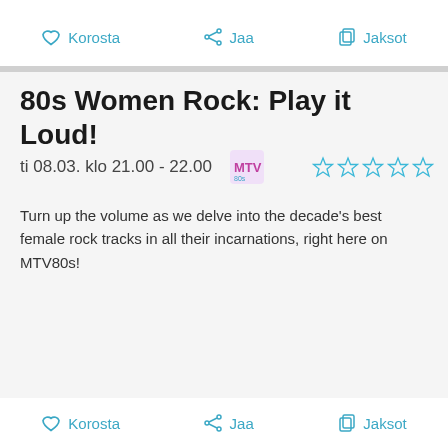Korosta  Jaa  Jaksot
80s Women Rock: Play it Loud!
ti 08.03. klo 21.00 - 22.00
Turn up the volume as we delve into the decade's best female rock tracks in all their incarnations, right here on MTV80s!
Korosta  Jaa  Jaksot